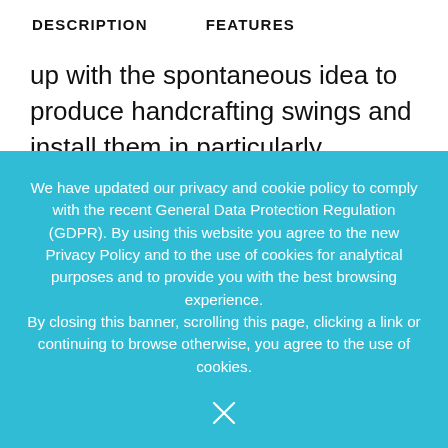DESCRIPTION   FEATURES
up with the spontaneous idea to produce handcrafting swings and install them in particularly suggestive places of Ticino. And so «Swing the World» was born.

They want to make known to the world the hidden, breathtaking and Instagrammable corners of the
We have updated our privacy and cookie policy to comply with the recent General Data Protection Regulation (GDPR). By using this website you agree to the new Privacy Policy and to the use of cookies for analytical purposes and to provide you with the best browsing experience.
By closing this banner, scrolling this page, clicking a link or continuing to browse otherwise, you agree to the use of cookies.